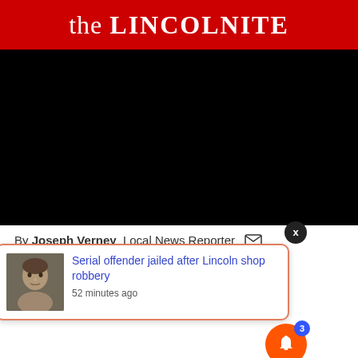the LINCOLNITE
[Figure (photo): Black rectangle representing a video or image placeholder]
By Joseph Verney  Local News Reporter
[Figure (screenshot): Popup notification card: 'Serial offender jailed after Lincoln shop robbery' - 52 minutes ago, with a mugshot thumbnail]
e dancing a routi while also ensuring the safety of everyone